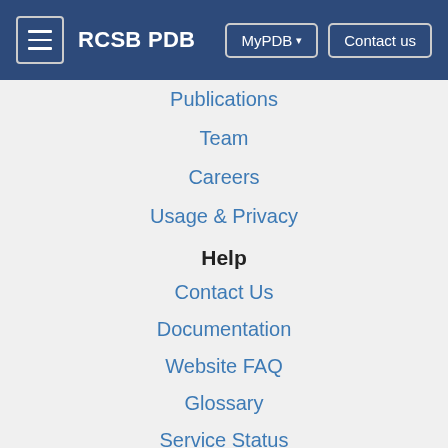RCSB PDB  MyPDB ▾  Contact us
Publications
Team
Careers
Usage & Privacy
Help
Contact Us
Documentation
Website FAQ
Glossary
Service Status
RCSB PDB (citation) is hosted by
[Figure (logo): Rutgers University logo — red serif bold uppercase RUTGERS]
[Figure (logo): UC San Diego SDSC logo — UC San Diego in navy with gold underline, SDSC in bold black]